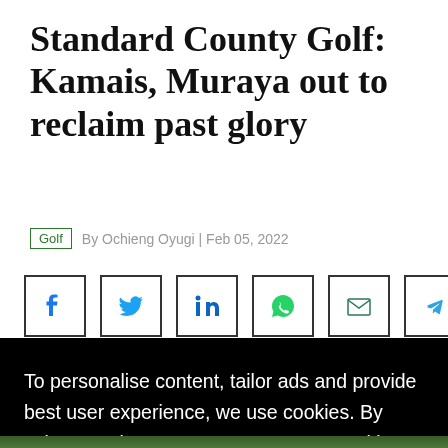Standard County Golf: Kamais, Muraya out to reclaim past glory
Golf  By Ochieng Oyugi | Feb 05, 2022
[Figure (other): Row of social media share buttons: Facebook, Twitter, LinkedIn, WhatsApp, Email, Telegram]
To personalise content, tailor ads and provide best user experience, we use cookies. By using our site, you agree to use our cookies. Privacy Policy
Accept & Continue